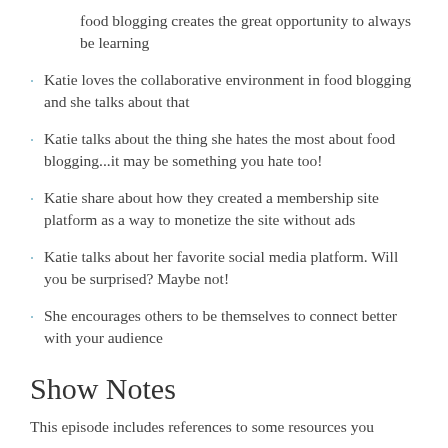food blogging creates the great opportunity to always be learning
Katie loves the collaborative environment in food blogging and she talks about that
Katie talks about the thing she hates the most about food blogging...it may be something you hate too!
Katie share about how they created a membership site platform as a way to monetize the site without ads
Katie talks about her favorite social media platform. Will you be surprised? Maybe not!
She encourages others to be themselves to connect better with your audience
Show Notes
This episode includes references to some resources you